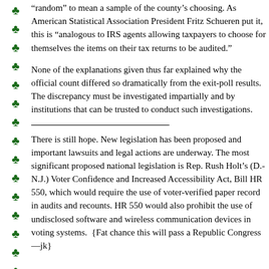“random” to mean a sample of the county’s choosing. As American Statistical Association President Fritz Schueren put it, this is “analogous to IRS agents allowing taxpayers to choose for themselves the items on their tax returns to be audited.”
None of the explanations given thus far explained why the official count differed so dramatically from the exit-poll results. The discrepancy must be investigated impartially and by institutions that can be trusted to conduct such investigations.
There is still hope. New legislation has been proposed and important lawsuits and legal actions are underway. The most significant proposed national legislation is Rep. Rush Holt’s (D.-N.J.) Voter Confidence and Increased Accessibility Act, Bill HR 550, which would require the use of voter-verified paper record in audits and recounts. HR 550 would also prohibit the use of undisclosed software and wireless communication devices in voting systems.  {Fat chance this will pass a Republic Congress —jk}